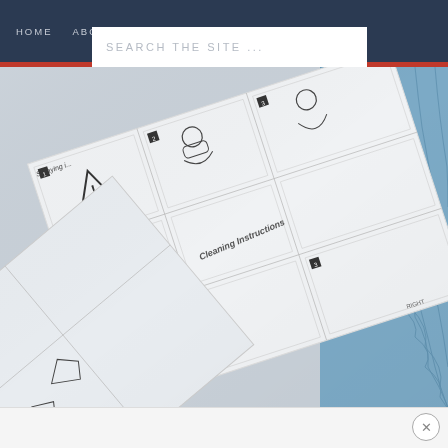HOME    ABOUT    DESIGN SERVICES    PORTFO...
[Figure (screenshot): Search bar with placeholder text 'SEARCH THE SITE ...' overlapping the navigation bar]
[Figure (photo): Photo of printed instruction sheets showing spraying and cleaning instructions with diagrams, alongside blue quilted fabric]